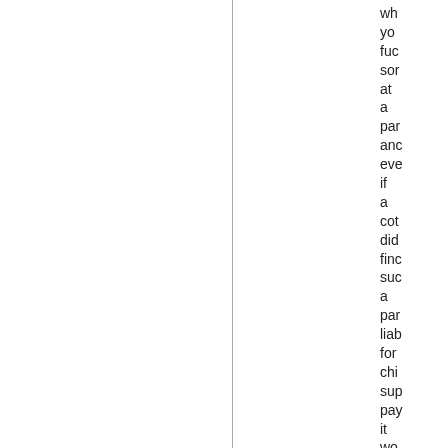wh you fuc sor at a par and eve if a cot did find suc a par liab for chi sup pay it wo pro